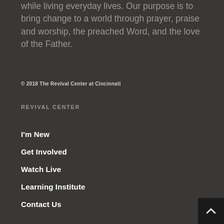while living everyday lives. Our purpose is to bring change to a world through prayer, praise and worship, the preached Word, and the love of the Father.
© 2018 The Revival Center at Cincinnati
REVIVAL CENTER
I'm New
Get Involved
Watch Live
Learning Institute
Contact Us